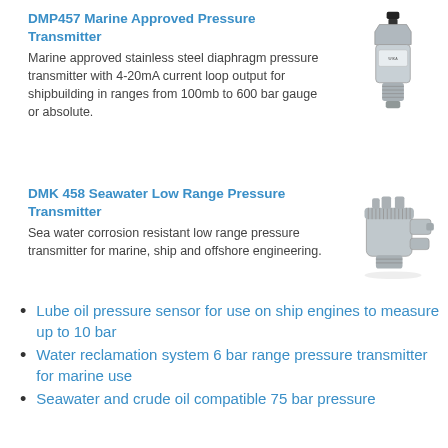DMP457 Marine Approved Pressure Transmitter
Marine approved stainless steel diaphragm pressure transmitter with 4-20mA current loop output for shipbuilding in ranges from 100mb to 600 bar gauge or absolute.
[Figure (photo): Cylindrical stainless steel pressure transmitter with threaded fitting and electrical connector on top]
DMK 458 Seawater Low Range Pressure Transmitter
Sea water corrosion resistant low range pressure transmitter for marine, ship and offshore engineering.
[Figure (photo): Stainless steel seawater pressure transmitter with multiple connectors and flanged body]
Lube oil pressure sensor for use on ship engines to measure up to 10 bar
Water reclamation system 6 bar range pressure transmitter for marine use
Seawater and crude oil compatible 75 bar pressure transmitter for marine